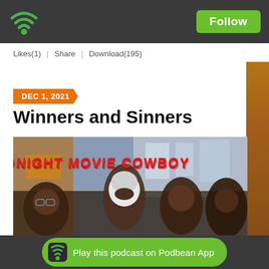Follow
Likes(1) | Share | Download(195)
DEC 1, 2021
Winners and Sinners
[Figure (photo): Movie scene photo with text overlay reading MIDNIGHT MOVIE COWBOY in red letters, showing several Asian men, one wearing a white motorcycle helmet]
Play this podcast on Podbean App